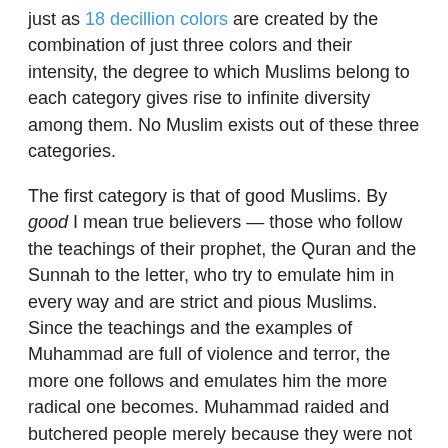just as 18 decillion colors are created by the combination of just three colors and their intensity, the degree to which Muslims belong to each category gives rise to infinite diversity among them. No Muslim exists out of these three categories.
The first category is that of good Muslims. By good I mean true believers — those who follow the teachings of their prophet, the Quran and the Sunnah to the letter, who try to emulate him in every way and are strict and pious Muslims. Since the teachings and the examples of Muhammad are full of violence and terror, the more one follows and emulates him the more radical one becomes. Muhammad raided and butchered people merely because they were not his followers. The good Muslims do the same. All the bombings and terrorism perpetrated by Muslims are replicas of Muhammad's raids, or ghazwa, as he called them. Taking women as sex slaves, which the Islamic State and Boko Haram practice, was also practiced by Muhammad and he sanctioned it in the Quran (33:50; 23: 1-6; 70:30; 4:24; 66:1-2). He ordered the assassination of his critics, the stoning of adulterers, chopping the hands of thieves, and killing